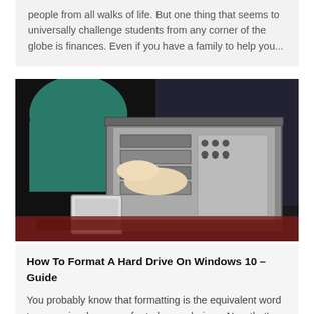people from all walks of life. But one thing that seems to universally challenge students from any corner of the globe is finances. Even if you have a family to help you...
[Figure (photo): Two people working on an open desktop computer case, examining internal components. One person holds a smartphone. They are sitting on a carpet.]
How To Format A Hard Drive On Windows 10 – Guide
You probably know that formatting is the equivalent word to amnesia when we refer to human beings. Now that's not fun. When